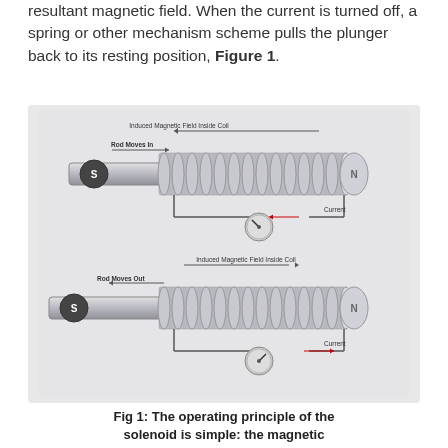resultant magnetic field. When the current is turned off, a spring or other mechanism scheme pulls the plunger back to its resting position, Figure 1.
[Figure (engineering-diagram): Two diagrams showing the operating principle of a solenoid. Top diagram: 'Rod Moves In' (arrow pointing right), coil with 'Induced Magnetic Field Inside Coil' arrow pointing left, rod labeled S entering from left, N at right end, current gauge showing current with left-pointing arrow. Bottom diagram: 'Rod Moves Out' (arrow pointing left), coil with 'Induced Magnetic Field Inside Coil' arrow pointing right, rod labeled S partially withdrawn, N at right end, current gauge showing current with right-pointing arrow.]
Fig 1: The operating principle of the solenoid is simple: the magnetic